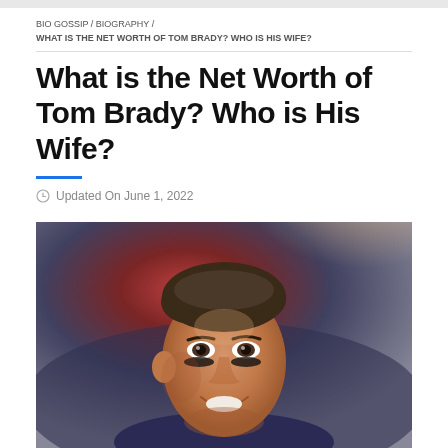BIO GOSSIP / BIOGRAPHY / WHAT IS THE NET WORTH OF TOM BRADY? WHO IS HIS WIFE?
What is the Net Worth of Tom Brady? Who is His Wife?
Updated On June 1, 2022
[Figure (photo): Tom Brady smiling, wearing a New England Patriots jersey with eye black, stadium lights in background]